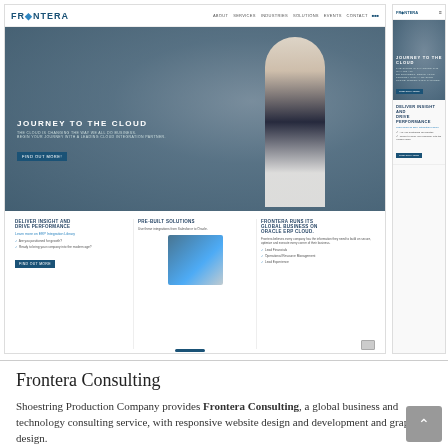[Figure (screenshot): Desktop and mobile website screenshots of Frontera Consulting website showing navigation bar with logo, hero section with 'JOURNEY TO THE CLOUD' headline, and three content cards below: 'DELIVER INSIGHT AND DRIVE PERFORMANCE', 'PRE-BUILT SOLUTIONS', and 'FRONTERA RUNS ITS GLOBAL BUSINESS ON ORACLE ERP CLOUD']
Frontera Consulting
Shoestring Production Company provides Frontera Consulting, a global business and technology consulting service, with responsive website design and development and graphic design.